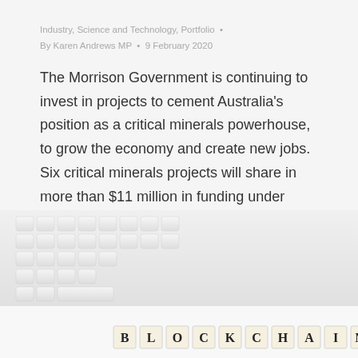Industry, Science and Technology, Portfolio • By Karen Andrews MP • 9 February 2020
The Morrison Government is continuing to invest in projects to cement Australia's position as a critical minerals powerhouse, to grow the economy and create new jobs. Six critical minerals projects will share in more than $11 million in funding under round 8 of the Cooperative Research Centres Projects (CRC-Ps). Minister for Industry, Science and Technology...
[Figure (photo): Photo of a white keyboard with Scrabble-tile letters spelling BLOCKCHAIN on a white surface]